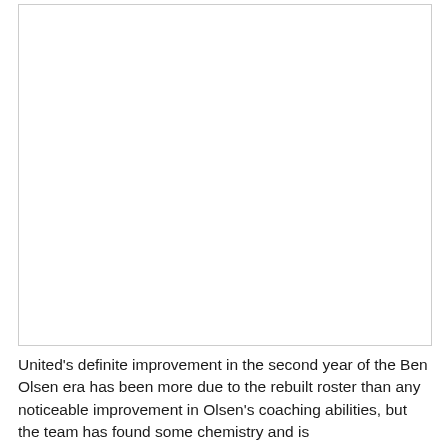[Figure (photo): Large photograph placeholder area (white/blank image box with border)]
United's definite improvement in the second year of the Ben Olsen era has been more due to the rebuilt roster than any noticeable improvement in Olsen's coaching abilities, but the team has found some chemistry and is